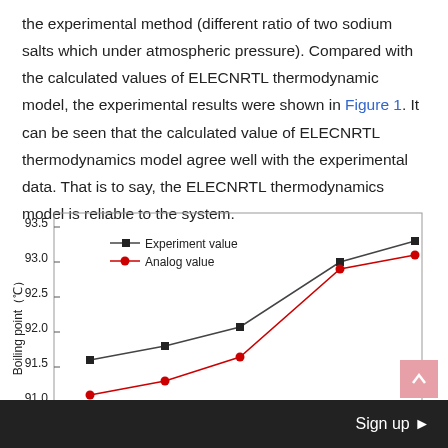the experimental method (different ratio of two sodium salts which under atmospheric pressure). Compared with the calculated values of ELECNRTL thermodynamic model, the experimental results were shown in Figure 1. It can be seen that the calculated value of ELECNRTL thermodynamics model agree well with the experimental data. That is to say, the ELECNRTL thermodynamics model is reliable to the system.
[Figure (line-chart): ]
Sign up ▶